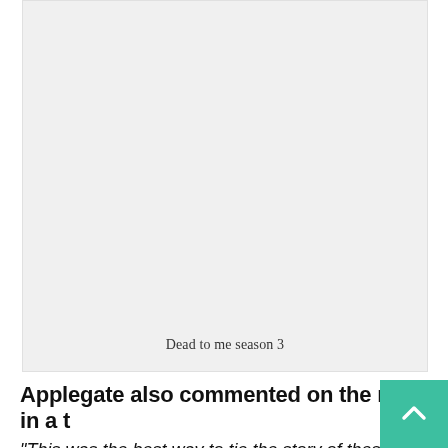[Figure (photo): Large image placeholder with light gray background representing a still or promotional image from Dead to me season 3]
Dead to me season 3
Applegate also commented on the news in a t
“This was the best way to tie the story of these wom